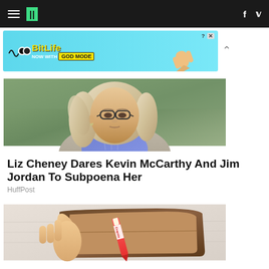HuffPost navigation header with hamburger menu, logo, facebook and twitter icons
[Figure (screenshot): BitLife advertisement banner: NOW WITH GOD MODE]
[Figure (photo): Photo of Liz Cheney, a blonde woman wearing glasses and a plaid shirt with a beige jacket, looking serious outdoors]
Liz Cheney Dares Kevin McCarthy And Jim Jordan To Subpoena Her
HuffPost
[Figure (photo): Photo of an open wallet with a Crayola crayon inside instead of money]